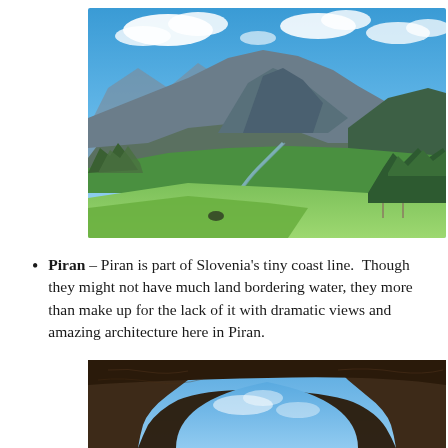[Figure (photo): Scenic mountain landscape with green meadows, a winding river in the valley, forested slopes, and blue sky with white clouds — Slovenia countryside.]
Piran – Piran is part of Slovenia's tiny coast line.  Though they might not have much land bordering water, they more than make up for the lack of it with dramatic views and amazing architecture here in Piran.
[Figure (photo): Stone arch or cave opening framing a blue sky, viewed from below — architectural or natural rock formation.]